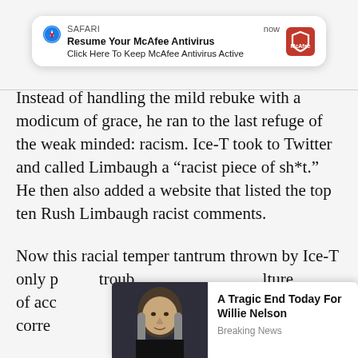[Figure (screenshot): Safari push notification overlay: 'Resume Your McAfee Antivirus / Click Here To Keep McAfee Antivirus Active' with McAfee shield logo and 'now' timestamp]
Instead of handling the mild rebuke with a modicum of grace, he ran to the last refuge of the weak minded: racism. Ice-T took to Twitter and called Limbaugh a “racist piece of sh*t.” He then also added a website that listed the top ten Rush Limbaugh racist comments.
Now this racial temper tantrum thrown by Ice-T only p... troub... lture of acc... y corre...
[Figure (screenshot): Ad widget with photo of Willie Nelson and headline 'A Tragic End Today For Willie Nelson' with tag 'Breaking News']